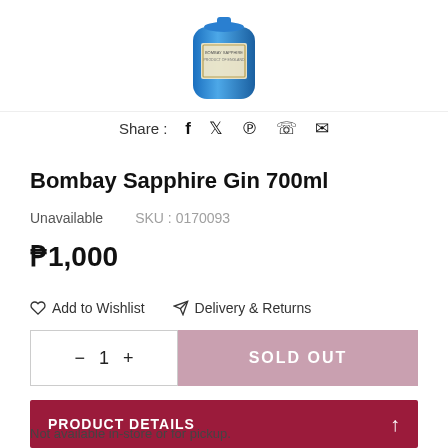[Figure (photo): Bombay Sapphire gin blue bottle, partially visible at top of page]
Share :  f  𝕏  ℗  ⊙  ✉
Bombay Sapphire Gin 700ml
Unavailable    SKU : 0170093
₱1,000
♡ Add to Wishlist   ✈ Delivery & Returns
− 1 +   SOLD OUT
PRODUCT DETAILS
Not available in-store or for pickup.